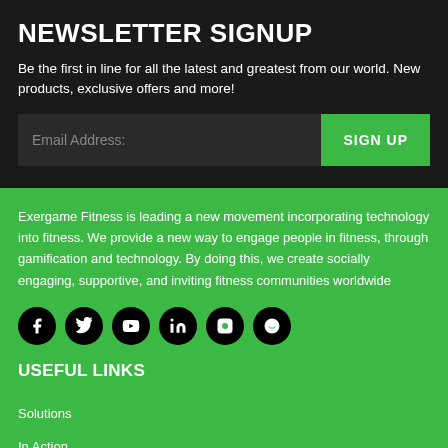NEWSLETTER SIGNUP
Be the first in line for all the latest and greatest from our world. New products, exclusive offers and more!
Email Address: [input field] SIGN UP
Exergame Fitness is leading a new movement incorporating technology into fitness. We provide a new way to engage people in fitness, through gamification and technology. By doing this, we create socially engaging, supportive, and inviting fitness communities worldwide
[Figure (infographic): Row of 6 social media icons (Facebook, Twitter, YouTube, LinkedIn, Instagram, and one other) in black circles on green background]
USEFUL LINKS
Solutions
In Action
Testimonials
Request Catalog
Privacy Policy